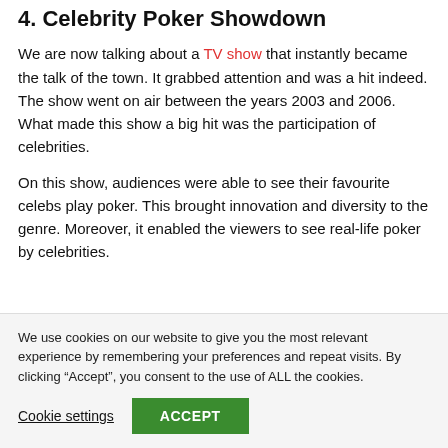4. Celebrity Poker Showdown
We are now talking about a TV show that instantly became the talk of the town. It grabbed attention and was a hit indeed. The show went on air between the years 2003 and 2006. What made this show a big hit was the participation of celebrities.
On this show, audiences were able to see their favourite celebs play poker. This brought innovation and diversity to the genre. Moreover, it enabled the viewers to see real-life poker by celebrities.
We use cookies on our website to give you the most relevant experience by remembering your preferences and repeat visits. By clicking “Accept”, you consent to the use of ALL the cookies.
Cookie settings
ACCEPT